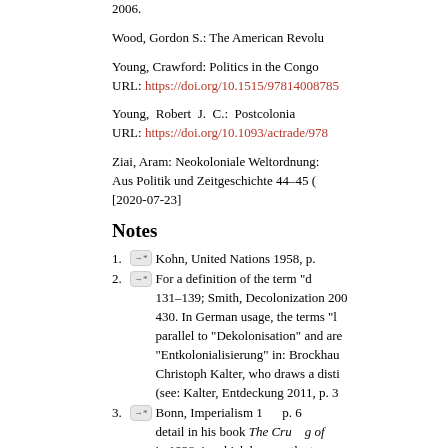2006.
Wood, Gordon S.: The American Revolu
Young, Crawford: Politics in the Congo
URL: https://doi.org/10.1515/97814008785
Young, Robert J. C.: Postcolonia
URL: https://doi.org/10.1093/actrade/978
Ziai, Aram: Neokoloniale Weltordnung:
Aus Politik und Zeitgeschichte 44–45 (
[2020-07-23]
Notes
1. Kohn, United Nations 1958, p.
2. For a definition of the term "d 131–139; Smith, Decolonization 200 430. In German usage, the terms "l parallel to "Dekolonisation" and are "Entkolonialisierung" in: Brockhau Christoph Kalter, who draws a disti (see: Kalter, Entdeckung 2011, p. 3
3. Bonn, Imperialism 1 p. 6 detail in his book The Cru g of in 1938, in which he uses the terms